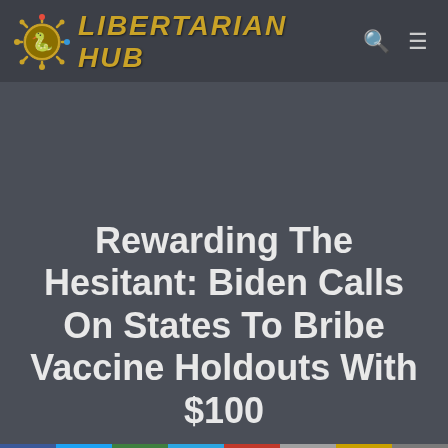LIBERTARIAN HUB
Rewarding The Hesitant: Biden Calls On States To Bribe Vaccine Holdouts With $100
[Figure (other): Social media sharing buttons bar: Facebook, Twitter, Gab, Telegram, MeWe/Minds, Parler, Link, Share]